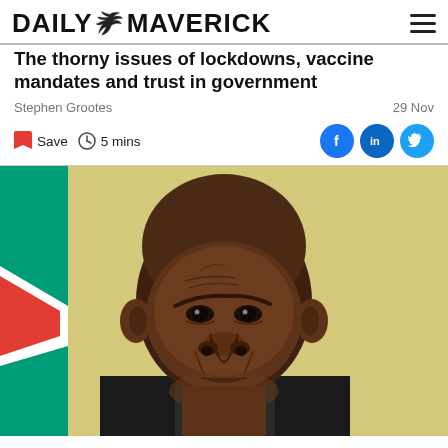DAILY MAVERICK
The thorny issues of lockdowns, vaccine mandates and trust in government
Stephen Grootes
29 Nov
Save  5 mins
[Figure (photo): Close-up photo of Cyril Ramaphosa with South African flag visible in background]